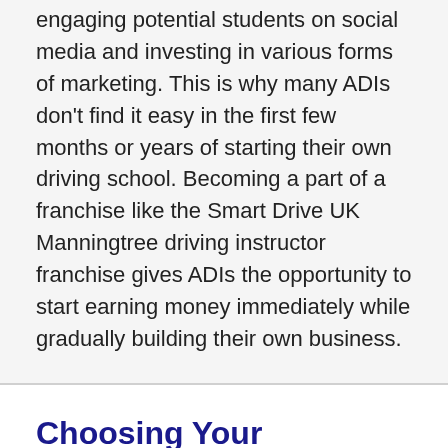engaging potential students on social media and investing in various forms of marketing. This is why many ADIs don't find it easy in the first few months or years of starting their own driving school. Becoming a part of a franchise like the Smart Drive UK Manningtree driving instructor franchise gives ADIs the opportunity to start earning money immediately while gradually building their own business.
Choosing Your Manningtree Driving Instructor Franchise
You have to ensure due diligence when picking a Manningtree Driving Instructor Franchise as you can't afford to make any mistakes.
The primary reason why you need to carefully select your